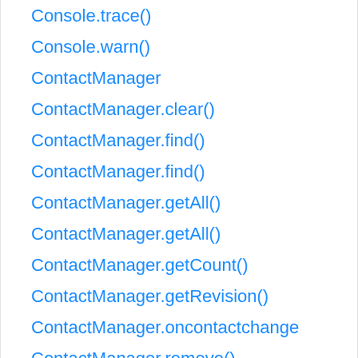Console.trace()
Console.warn()
ContactManager
ContactManager.clear()
ContactManager.find()
ContactManager.find()
ContactManager.getAll()
ContactManager.getAll()
ContactManager.getCount()
ContactManager.getRevision()
ContactManager.oncontactchange
ContactManager.remove()
ContactManager.save()
Contacts API
ConvolverNode